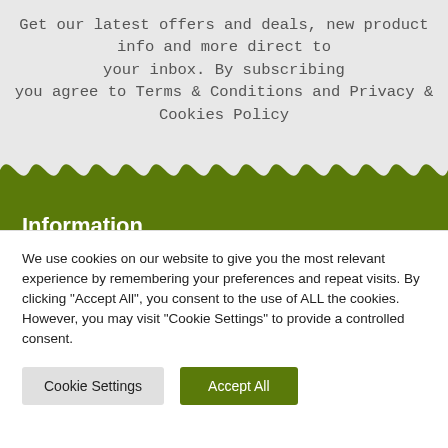Get our latest offers and deals, new product info and more direct to your inbox. By subscribing you agree to Terms & Conditions and Privacy & Cookies Policy
Information
About us
FAQ's
Address
Scott's Landscape Supplies
We use cookies on our website to give you the most relevant experience by remembering your preferences and repeat visits. By clicking "Accept All", you consent to the use of ALL the cookies. However, you may visit "Cookie Settings" to provide a controlled consent.
Cookie Settings
Accept All